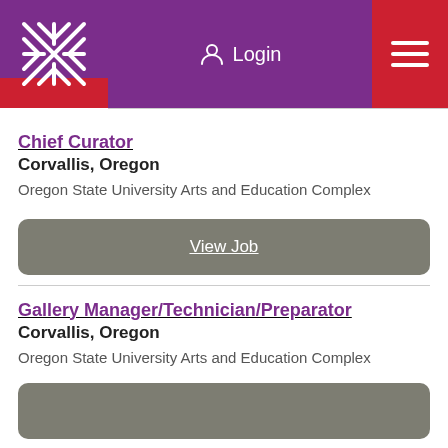[Figure (logo): Oregon State University woven pattern logo on purple background with red strip at bottom]
Login
Chief Curator
Corvallis, Oregon
Oregon State University Arts and Education Complex
View Job
Gallery Manager/Technician/Preparator
Corvallis, Oregon
Oregon State University Arts and Education Complex